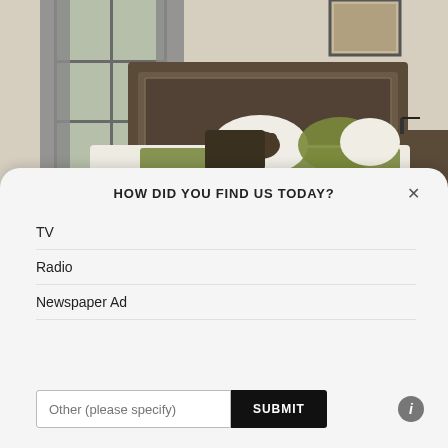[Figure (photo): Bedroom scene with dark wood headboard, white bedding with olive green throw blanket and pillows, bear motif pillow, large windows with gray curtains, warm neutral walls.]
HOW DID YOU FIND US TODAY?
TV
Radio
Newspaper Ad
Other (please specify)
SUBMIT